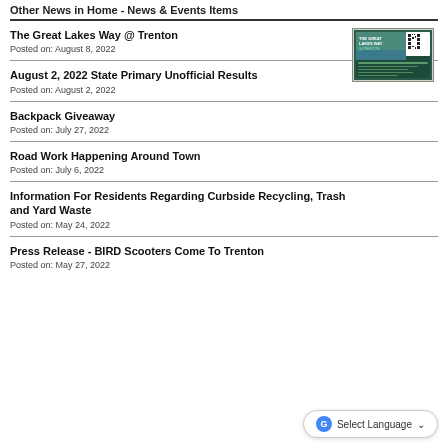Other News in Home - News & Events Items
The Great Lakes Way @ Trenton
Posted on: August 8, 2022
[Figure (illustration): Promotional flyer for The Great Lakes Way @ Trenton with QR code]
August 2, 2022 State Primary Unofficial Results
Posted on: August 2, 2022
Backpack Giveaway
Posted on: July 27, 2022
Road Work Happening Around Town
Posted on: July 6, 2022
Information For Residents Regarding Curbside Recycling, Trash and Yard Waste
Posted on: May 24, 2022
Press Release - BIRD Scooters Come To Trenton
Posted on: May 27, 2022